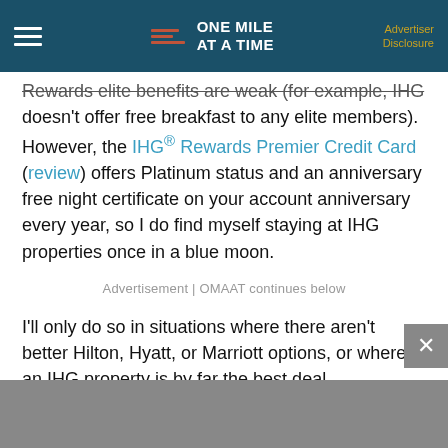ONE MILE AT A TIME | Advertiser Disclosure
Rewards elite benefits are weak (for example, IHG doesn't offer free breakfast to any elite members). However, the IHG® Rewards Premier Credit Card (review) offers Platinum status and an anniversary free night certificate on your account anniversary every year, so I do find myself staying at IHG properties once in a blue moon.
Advertisement | OMAAT continues below
I'll only do so in situations where there aren't better Hilton, Hyatt, or Marriott options, or where an IHG property is by far the best deal.